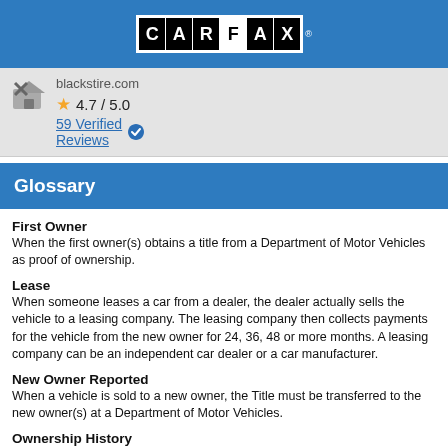CARFAX
blackstire.com
★ 4.7 / 5.0
59 Verified Reviews
Glossary
First Owner
When the first owner(s) obtains a title from a Department of Motor Vehicles as proof of ownership.
Lease
When someone leases a car from a dealer, the dealer actually sells the vehicle to a leasing company. The leasing company then collects payments for the vehicle from the new owner for 24, 36, 48 or more months. A leasing company can be an independent car dealer or a car manufacturer.
New Owner Reported
When a vehicle is sold to a new owner, the Title must be transferred to the new owner(s) at a Department of Motor Vehicles.
Ownership History
CARFAX defines an owner as an individual or business that possesses a uses a vehicle. Not all title transactions represent changes in ownership provide estimated number of owners, CARFAX proprietary technology analyzes all the events in a vehicle history. Estimated ownership is available for vehicles